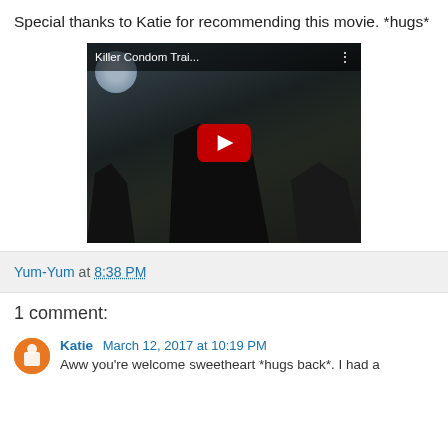Special thanks to Katie for recommending this movie. *hugs*
[Figure (screenshot): YouTube video thumbnail for 'Killer Condom Trai...' showing a dark scene with a YouTube play button overlay]
Yum-Yum at 8:38 PM
1 comment:
Katie March 12, 2017 at 10:19 PM
Aww you're welcome sweetheart *hugs back*. I had a